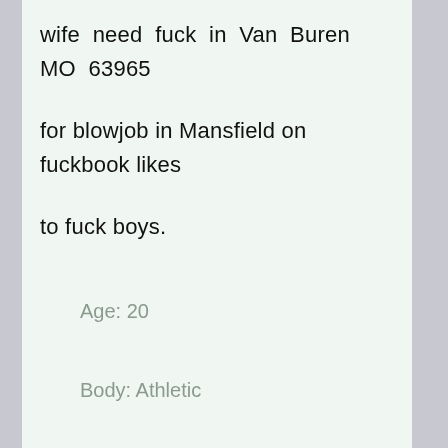wife need fuck in Van Buren MO 63965 for blowjob in Mansfield on fuckbook likes to fuck boys.
Age: 20
Body: Athletic
Hair Color: Grey
Status: Separated